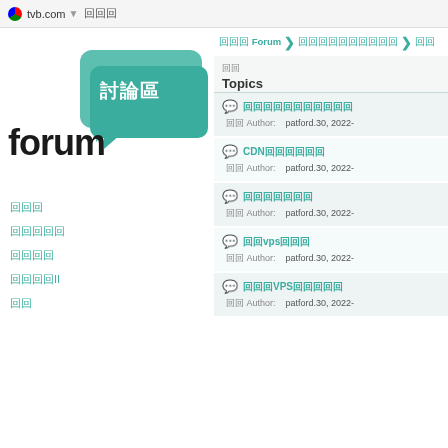tvb.com  ▼  回回回
[Figure (logo): TVB forum logo with 'forum' text and teal speech bubble with Chinese characters 討論區]
回回回 Forum > 回回回回回回回回回回 > 回回
回回
Topics
💬 回回回回回回回回回回回
回回 Author:  patford.30, 2022-
💬 CDN回回回回回回
回回 Author:  patford.30, 2022-
💬 回回回回回回回
回回 Author:  patford.30, 2022-
💬 回回vps回回回
回回 Author:  patford.30, 2022-
💬 回回回VPS回回回回回
回回 Author:  patford.30, 2022-
回回回
回回回回回
回回回回
回回回回II
回回